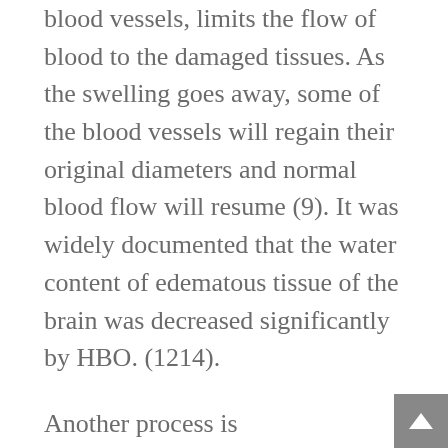blood vessels, limits the flow of blood to the damaged tissues. As the swelling goes away, some of the blood vessels will regain their original diameters and normal blood flow will resume (9). It was widely documented that the water content of edematous tissue of the brain was decreased significantly by HBO. (1214).
Another process is “neovascularization”, also known as “angiogenesis”. This is the process of forming new capillaries that extend from the surrounding healthy brain tissue into the areas of the ischemic penumbra. The outermost portions of the ischemic penumbra (those portions closest to normal brain tissue) are able to metabolize but at a reduced rate than normal tissues, however, they are receiving more blood and oxygen than the centrally located ischemic tissues.